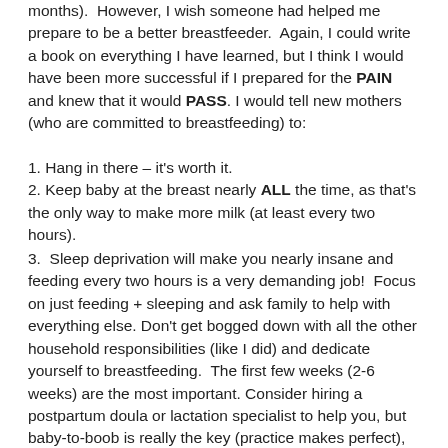months).  However, I wish someone had helped me prepare to be a better breastfeeder.  Again, I could write a book on everything I have learned, but I think I would have been more successful if I prepared for the PAIN and knew that it would PASS. I would tell new mothers (who are committed to breastfeeding) to:
1. Hang in there – it's worth it.
2. Keep baby at the breast nearly ALL the time, as that's the only way to make more milk (at least every two hours).
3.  Sleep deprivation will make you nearly insane and feeding every two hours is a very demanding job!  Focus on just feeding + sleeping and ask family to help with everything else. Don't get bogged down with all the other household responsibilities (like I did) and dedicate yourself to breastfeeding.  The first few weeks (2-6 weeks) are the most important. Consider hiring a postpartum doula or lactation specialist to help you, but baby-to-boob is really the key (practice makes perfect), and yes it will hurt (a lot!).  And do pump if you are hyper dedicated.